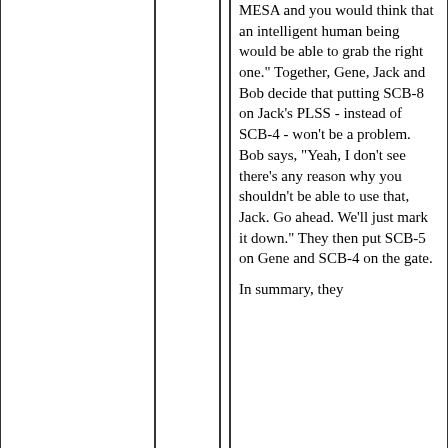MESA and you would think that an intelligent human being would be able to grab the right one." Together, Gene, Jack and Bob decide that putting SCB-8 on Jack's PLSS - instead of SCB-4 - won't be a problem.  Bob says, "Yeah, I don't see there's any reason why you shouldn't be able to use that, Jack.  Go ahead.  We'll just mark it down."  They then put SCB-5 on Gene and SCB-4 on the gate.
In summary, they